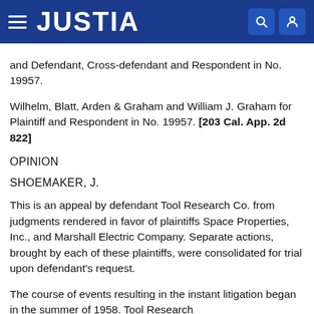JUSTIA
and Defendant, Cross-defendant and Respondent in No. 19957.
Wilhelm, Blatt, Arden & Graham and William J. Graham for Plaintiff and Respondent in No. 19957. [203 Cal. App. 2d 822]
OPINION
SHOEMAKER, J.
This is an appeal by defendant Tool Research Co. from judgments rendered in favor of plaintiffs Space Properties, Inc., and Marshall Electric Company. Separate actions, brought by each of these plaintiffs, were consolidated for trial upon defendant's request.
The course of events resulting in the instant litigation began in the summer of 1958. Tool Research